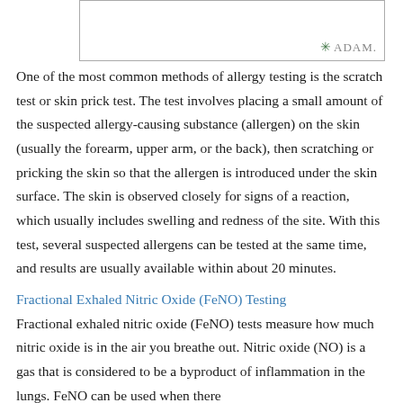[Figure (illustration): Image placeholder box with ADAM logo watermark in lower right corner]
One of the most common methods of allergy testing is the scratch test or skin prick test. The test involves placing a small amount of the suspected allergy-causing substance (allergen) on the skin (usually the forearm, upper arm, or the back), then scratching or pricking the skin so that the allergen is introduced under the skin surface. The skin is observed closely for signs of a reaction, which usually includes swelling and redness of the site. With this test, several suspected allergens can be tested at the same time, and results are usually available within about 20 minutes.
Fractional Exhaled Nitric Oxide (FeNO) Testing
Fractional exhaled nitric oxide (FeNO) tests measure how much nitric oxide is in the air you breathe out. Nitric oxide (NO) is a gas that is considered to be a byproduct of inflammation in the lungs. FeNO can be used when there